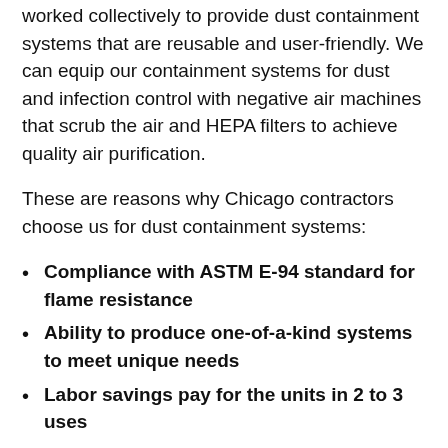worked collectively to provide dust containment systems that are reusable and user-friendly. We can equip our containment systems for dust and infection control with negative air machines that scrub the air and HEPA filters to achieve quality air purification.
These are reasons why Chicago contractors choose us for dust containment systems:
Compliance with ASTM E-94 standard for flame resistance
Ability to produce one-of-a-kind systems to meet unique needs
Labor savings pay for the units in 2 to 3 uses
Exceed infection control guidelines
Wide range of widths and adjustable heights
Easily cleaned and sanitized
Recommended for the medical/abatement/construction industry